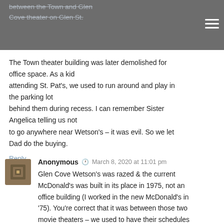between the Town and Glen Cove theater on Glen St.
The Town theater building was later demolished for office space. As a kid attending St. Pat's, we used to run around and play in the parking lot behind them during recess. I can remember Sister Angelica telling us not to go anywhere near Wetson's – it was evil. So we let Dad do the buying.
Reply
Anonymous  March 8, 2020 at 11:01 pm
Glen Cove Wetson's was razed & the current McDonald's was built in its place in 1975, not an office building (I worked in the new McDonald's in '75). You're correct that it was between those two movie theaters – we used to have their schedules